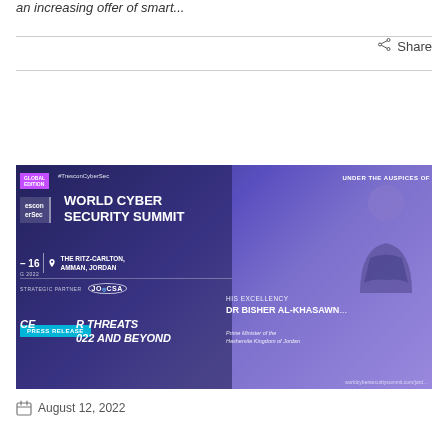an increasing offer of smart...
Share
[Figure (screenshot): World Cyber Security Summit promotional banner showing summit details at The Ritz-Carlton, Amman, Jordan, August 2022, with Dr Bisher Al-Khasawneh, Prime Minister of the Hashemite Kingdom of Jordan. Includes press release banner text about threats 2022 and beyond, JOCSA strategic partner logo, and #TresconCyberSec hashtag.]
August 12, 2022